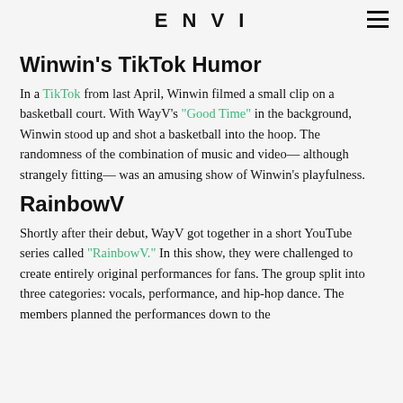ENVI
Winwin's TikTok Humor
In a TikTok from last April, Winwin filmed a small clip on a basketball court. With WayV's "Good Time" in the background, Winwin stood up and shot a basketball into the hoop. The randomness of the combination of music and video— although strangely fitting— was an amusing show of Winwin's playfulness.
RainbowV
Shortly after their debut, WayV got together in a short YouTube series called "RainbowV." In this show, they were challenged to create entirely original performances for fans. The group split into three categories: vocals, performance, and hip-hop dance. The members planned the performances down to the